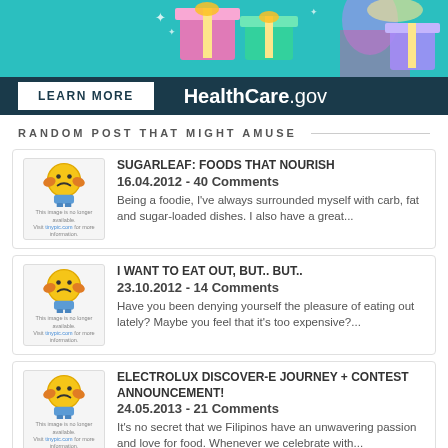[Figure (photo): HealthCare.gov advertisement banner with colorful gift boxes and a person holding a cake on teal background. Bottom bar shows LEARN MORE button and HealthCare.gov branding.]
RANDOM POST THAT MIGHT AMUSE
[Figure (illustration): Tinypic broken image placeholder with sad yellow face emoji]
SUGARLEAF: FOODS THAT NOURISH
16.04.2012 - 40 Comments
Being a foodie, I've always surrounded myself with carb, fat and sugar-loaded dishes. I also have a great...
[Figure (illustration): Tinypic broken image placeholder with sad yellow face emoji]
I WANT TO EAT OUT, BUT.. BUT..
23.10.2012 - 14 Comments
Have you been denying yourself the pleasure of eating out lately? Maybe you feel that it's too expensive?...
[Figure (illustration): Tinypic broken image placeholder with sad yellow face emoji]
ELECTROLUX DISCOVER-E JOURNEY + CONTEST ANNOUNCEMENT!
24.05.2013 - 21 Comments
It's no secret that we Filipinos have an unwavering passion and love for food. Whenever we celebrate with...